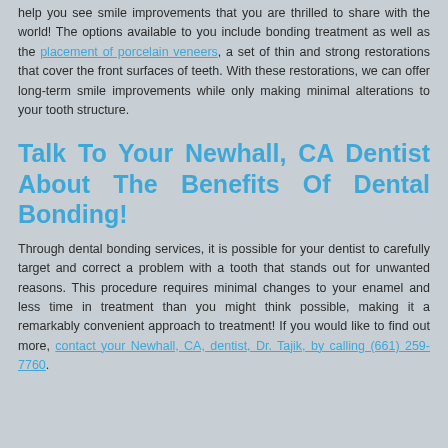help you see smile improvements that you are thrilled to share with the world! The options available to you include bonding treatment as well as the placement of porcelain veneers, a set of thin and strong restorations that cover the front surfaces of teeth. With these restorations, we can offer long-term smile improvements while only making minimal alterations to your tooth structure.
Talk To Your Newhall, CA Dentist About The Benefits Of Dental Bonding!
Through dental bonding services, it is possible for your dentist to carefully target and correct a problem with a tooth that stands out for unwanted reasons. This procedure requires minimal changes to your enamel and less time in treatment than you might think possible, making it a remarkably convenient approach to treatment! If you would like to find out more, contact your Newhall, CA, dentist, Dr. Tajik, by calling (661) 259-7760.